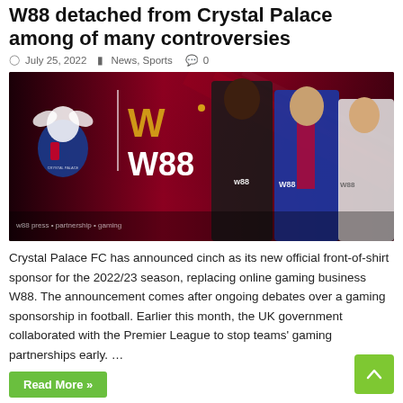W88 detached from Crystal Palace among of many controversies
July 25, 2022  News, Sports  0
[Figure (photo): Crystal Palace FC W88 shirt sponsorship promotional image showing three footballers in Crystal Palace kits with W88 branding on dark red/maroon background]
Crystal Palace FC has announced cinch as its new official front-of-shirt sponsor for the 2022/23 season, replacing online gaming business W88. The announcement comes after ongoing debates over a gaming sponsorship in football. Earlier this month, the UK government collaborated with the Premier League to stop teams' gaming partnerships early. …
Read More »